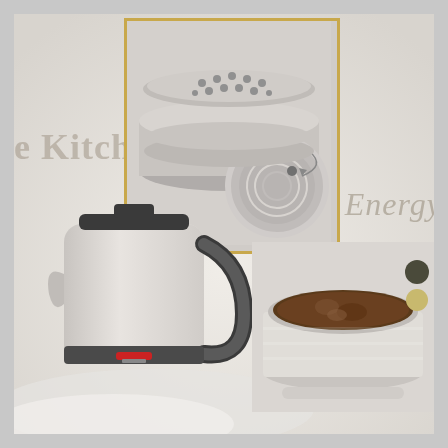[Figure (photo): Kitchen appliance promotional image showing: (1) a stainless steel steamer pot with perforated insert lid shown open, displayed in a gold-bordered inset; (2) a silver/white electric kettle with black handle and red indicator light; (3) a white ceramic slow cooker/rice cooker with contents visible from above. Decorative script text reads 'e Kitchen' and 'Energy' on a soft beige/grey background.]